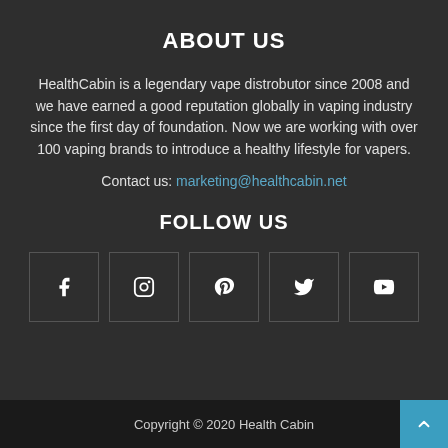ABOUT US
HealthCabin is a legendary vape distrobutor since 2008 and we have earned a good reputation globally in vaping industry since the first day of foundation. Now we are working with over 100 vaping brands to introduce a healthy lifestyle for vapers.
Contact us: marketing@healthcabin.net
FOLLOW US
[Figure (infographic): Five social media icons (Facebook, Instagram, Pinterest, Twitter, YouTube) each inside a square border]
Copyright © 2020 Health Cabin